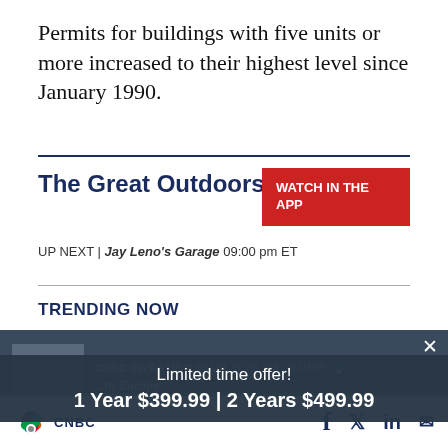Permits for buildings with five units or more increased to their highest level since January 1990.
The Great Outdoors
WATCH IN THE APP
UP NEXT | Jay Leno's Garage 09:00 pm ET
TRENDING NOW
CNBC INVESTING CLUB WITH JIM CRAMER
UN team at Ukraine nuclear plant 'not going anywhere'
Limited time offer!
1 Year $399.99 | 2 Years $499.99
CNBC